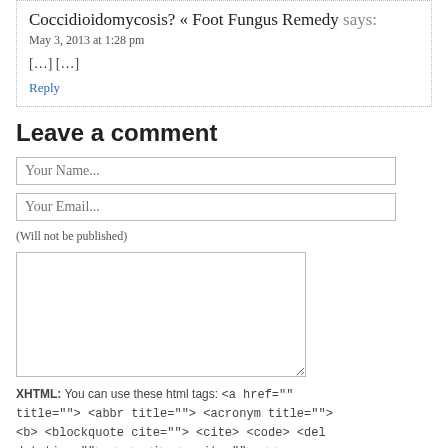Coccidioidomycosis? « Foot Fungus Remedy says:
May 3, 2013 at 1:28 pm
[…] […]
Reply
Leave a comment
Your Name...
Your Email...
(Will not be published)
XHTML: You can use these html tags: <a href="" title=""> <abbr title=""> <acronym title=""> <b> <blockquote cite=""> <cite> <code> <del datetime=""> <em> <i> <q cite=""> <s>